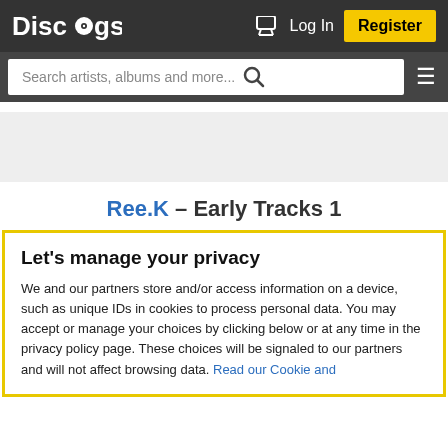Discogs — Log In | Register
Search artists, albums and more...
[Figure (other): Gray advertisement placeholder banner]
Ree.K – Early Tracks 1
Let's manage your privacy
We and our partners store and/or access information on a device, such as unique IDs in cookies to process personal data. You may accept or manage your choices by clicking below or at any time in the privacy policy page. These choices will be signaled to our partners and will not affect browsing data. Read our Cookie and